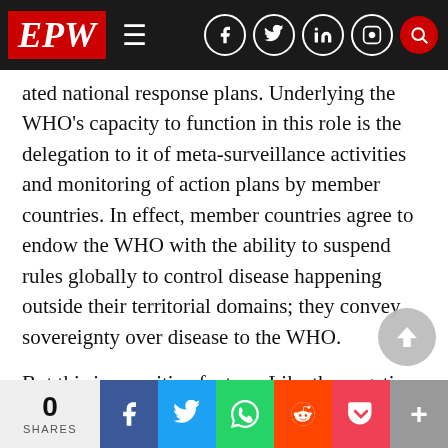EPW navigation bar with logo and social icons
ated national response plans. Underlying the WHO’s capacity to function in this role is the delegation to it of meta-surveillance activities and monitoring of action plans by member countries. In effect, member countries agree to endow the WHO with the ability to suspend rules globally to control disease happening outside their territorial domains; they convey sovereignty over disease to the WHO.
But this is a positive fantasy. Like the negative fantasy that the WHO is merely the handmaiden of Big Pharma, it rests on the assumption that a pandemic is a natural phenomenon that requi…
0 SHARES | Facebook | Twitter | WhatsApp | Reddit | Pocket | More